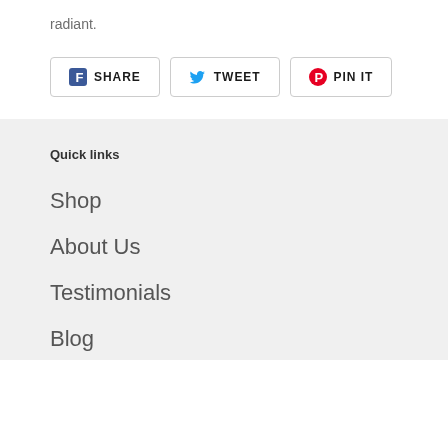radiant.
SHARE  TWEET  PIN IT
Quick links
Shop
About Us
Testimonials
Blog